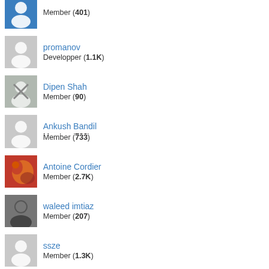Member (401)
promanov
Developper (1.1K)
Dipen Shah
Member (90)
Ankush Bandil
Member (733)
Antoine Cordier
Member (2.7K)
waleed imtiaz
Member (207)
ssze
Member (1.3K)
Sergey Zakharenko
Member (212)
Pierre Jenicot
Electronic document manager (1.1K)